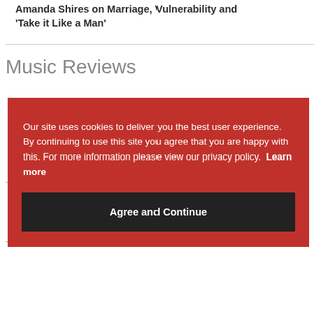Amanda Shires on Marriage, Vulnerability and 'Take it Like a Man'
Music Reviews
Our site uses cookies to deliver you the best user experience. By continuing to use this site you agree that you are happy with this. For more information please view our privacy policy.  Learn more
Agree and Continue